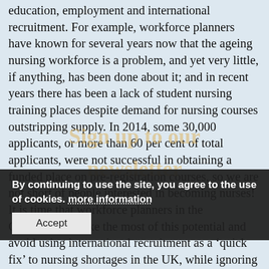education, employment and international recruitment. For example, workforce planners have known for several years now that the ageing nursing workforce is a problem, and yet very little, if anything, has been done about it; and in recent years there has been a lack of student nursing training places despite demand for nursing courses outstripping supply. In 2014, some 30,000 applicants, or more than 60 per cent of total applicants, were not successful in obtaining a funded place on pre-registration courses, so we are not short of people interested in becoming nurses! It is time that workforce planners in the Government make the most of this potential and avoid using international recruitment as a 'quick fix' to nursing shortages in the UK, while ignoring more systemic workforce planning issues. For example, having removed the nursing bursary, workforce planners need to consider the impacts of this decision, as it puts people off training to be a nurse, thus reducing the potential pool of new recruits.
By continuing to use the site, you agree to the use of cookies. more information
Accept